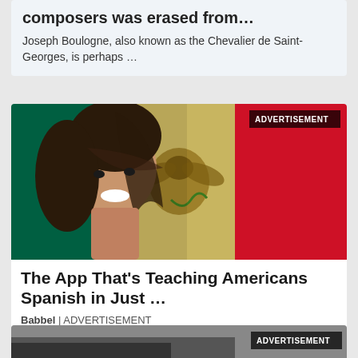composers was erased from…
Joseph Boulogne, also known as the Chevalier de Saint-Georges, is perhaps …
[Figure (photo): Advertisement image showing a smiling woman with long dark wavy hair against a background of the Mexican flag (green, eagle emblem, red). ADVERTISEMENT badge in top right corner.]
The App That's Teaching Americans Spanish in Just …
Babbel | ADVERTISEMENT
[Figure (photo): Partial advertisement image at bottom of page with ADVERTISEMENT badge visible in top right corner.]